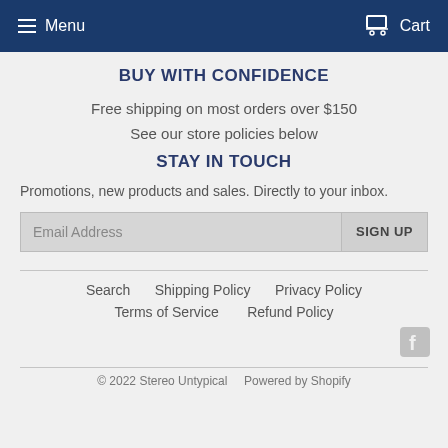Menu   Cart
BUY WITH CONFIDENCE
Free shipping on most orders over $150
See our store policies below
STAY IN TOUCH
Promotions, new products and sales. Directly to your inbox.
Email Address   SIGN UP
Search   Shipping Policy   Privacy Policy   Terms of Service   Refund Policy
[Figure (logo): Facebook icon]
© 2022 Stereo Untypical   Powered by Shopify